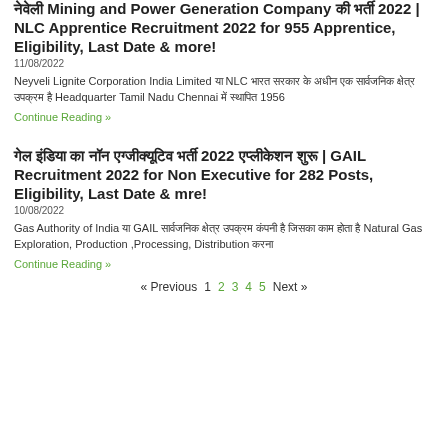नेवेली Mining and Power Generation Company की भर्ती 2022 | NLC Apprentice Recruitment 2022 for 955 Apprentice, Eligibility, Last Date & more!
11/08/2022
Neyveli Lignite Corporation India Limited या NLC भारत सरकार के अधीन एक सार्वजनिक क्षेत्र उपक्रम है Headquarter Tamil Nadu Chennai में स्थापित 1956
Continue Reading »
गेल इंडिया का नॉन एग्जीक्यूटिव भर्ती 2022 एप्लीकेशन शुरू | GAIL Recruitment 2022 for Non Executive for 282 Posts, Eligibility, Last Date & mre!
10/08/2022
Gas Authority of India या GAIL सार्वजनिक क्षेत्र उपक्रम कंपनी है जिसका काम होता है Natural Gas Exploration, Production ,Processing, Distribution करना
Continue Reading »
« Previous  1  2  3  4  5  Next »